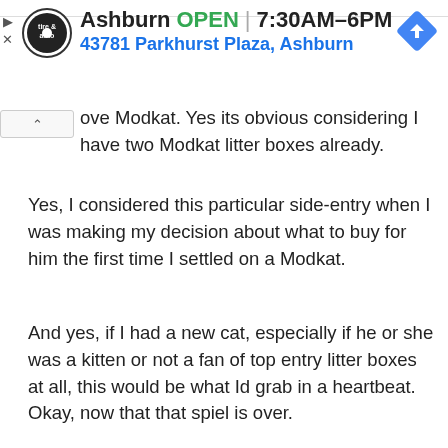[Figure (screenshot): Advertisement banner for a tire and auto shop in Ashburn showing logo, OPEN status, hours 7:30AM-6PM, address 43781 Parkhurst Plaza Ashburn, and navigation icon]
ove Modkat. Yes its obvious considering I have two Modkat litter boxes already.
Yes, I considered this particular side-entry when I was making my decision about what to buy for him the first time I settled on a Modkat.
And yes, if I had a new cat, especially if he or she was a kitten or not a fan of top entry litter boxes at all, this would be what Id grab in a heartbeat. Okay, now that that spiel is over.